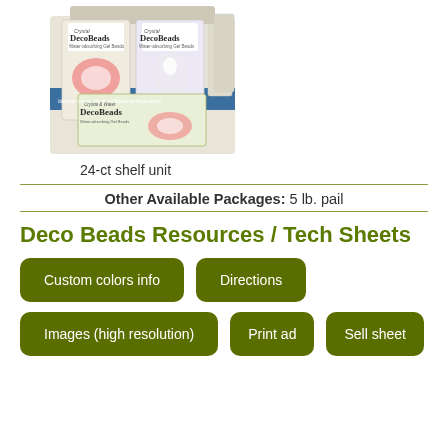[Figure (photo): DecoBeads product display — a 24-count shelf unit box showing multiple packages of Crystal/Water DecoBeads gel beads, with decorative flowers and bowls on the packaging.]
24-ct shelf unit
Other Available Packages: 5 lb. pail
Deco Beads Resources / Tech Sheets
Custom colors info
Directions
Images (high resolution)
Print ad
Sell sheet